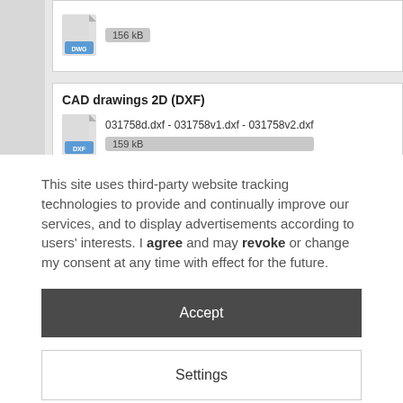[Figure (screenshot): Partial DWG file card showing a DWG file icon with a 156 kB badge, partially visible at top of page]
CAD drawings 2D (DXF)
031758d.dxf - 031758v1.dxf - 031758v2.dxf
159 kB
This site uses third-party website tracking technologies to provide and continually improve our services, and to display advertisements according to users' interests. I agree and may revoke or change my consent at any time with effect for the future.
Accept
Settings
Imprint | Privacy Policy